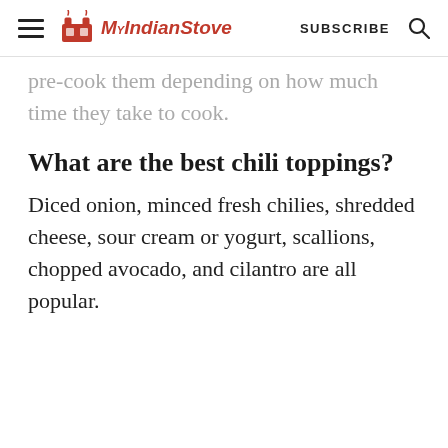MyIndianStove  SUBSCRIBE
pre-cook them depending on how much time they take to cook.
What are the best chili toppings?
Diced onion, minced fresh chilies, shredded cheese, sour cream or yogurt, scallions, chopped avocado, and cilantro are all popular.